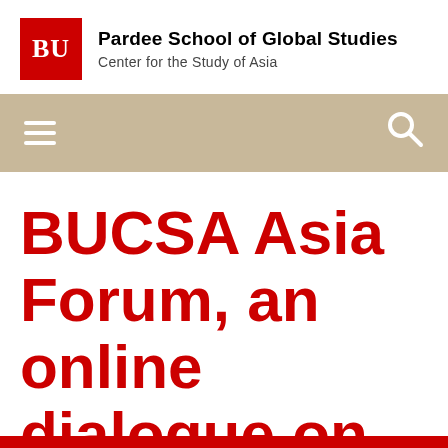BU | Pardee School of Global Studies
Center for the Study of Asia
[Figure (screenshot): Navigation bar with hamburger menu icon on left and search icon on right, tan/beige background]
BUCSA Asia Forum, an online dialogue on Asian affairs